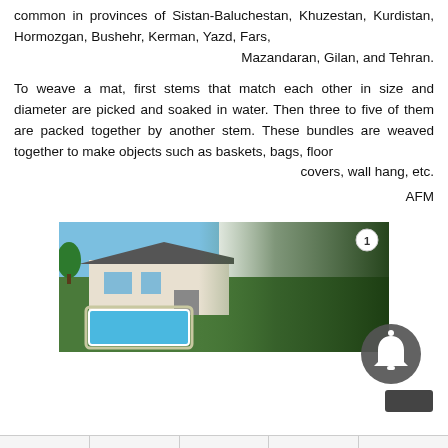common in provinces of Sistan-Baluchestan, Khuzestan, Kurdistan, Hormozgan, Bushehr, Kerman, Yazd, Fars, Mazandaran, Gilan, and Tehran.
To weave a mat, first stems that match each other in size and diameter are picked and soaked in water. Then three to five of them are packed together by another stem. These bundles are weaved together to make objects such as baskets, bags, floor covers, wall hang, etc.
AFM
[Figure (photo): Photo of a modern single-story house with a swimming pool, green lawn and trees, with a dark green gradient overlay on the right half. A notification bell icon appears in the bottom right corner.]